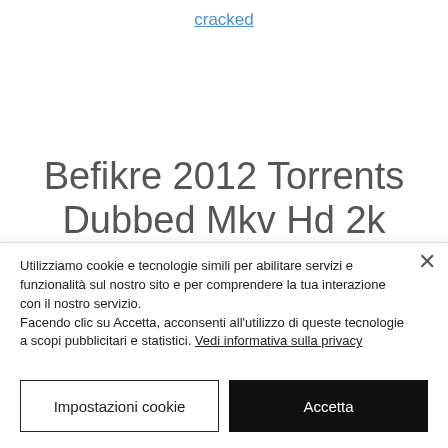cracked
Befikre 2012 Torrents Dubbed Mkv Hd 2k
Utilizziamo cookie e tecnologie simili per abilitare servizi e funzionalità sul nostro sito e per comprendere la tua interazione con il nostro servizio.
Facendo clic su Accetta, acconsenti all'utilizzo di queste tecnologie a scopi pubblicitari e statistici. Vedi informativa sulla privacy
Impostazioni cookie
Accetta